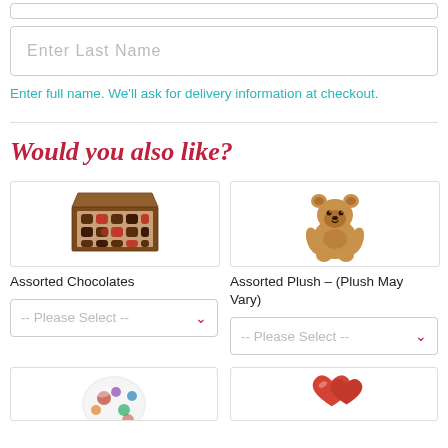Enter Last Name
Enter full name. We’ll ask for delivery information at checkout.
Would you also like?
[Figure (photo): Box of assorted chocolates with chocolates visible inside a brown box]
Assorted Chocolates
-- Please Select --
[Figure (photo): Tan/brown teddy bear plush toy sitting upright]
Assorted Plush – (Plush May Vary)
-- Please Select --
[Figure (photo): Colorful patterned balloon (partially visible at bottom left)]
[Figure (photo): Red heart-shaped balloon (partially visible at bottom right)]